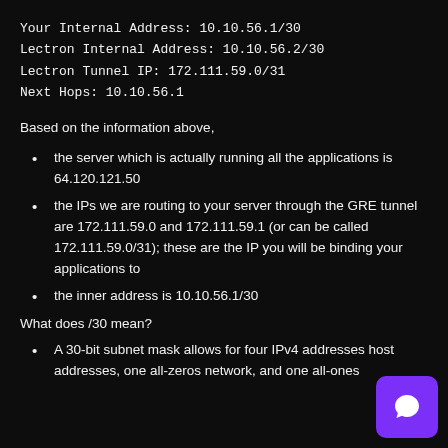Your Internal Address: 10.10.56.1/30
Lectron Internal Address: 10.10.56.2/30
Lectron Tunnel IP: 172.111.59.0/31
Next Hops: 10.10.56.1
Based on the information above,
the server which is actually running all the applications is 64.120.121.50
the IPs we are routing to your server through the GRE tunnel are 172.111.59.0 and 172.111.59.1 (or can be called 172.111.59.0/31); these are the IP you will be binding your applications to
the inner address is 10.10.56.1/30
What does /30 mean?
A 30-bit subnet mask allows for four IPv4 addresses host addresses, one all-zeros network, and one all-ones